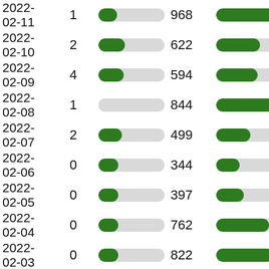| Date | Count1 | Bar1 | Count2 | Bar2 |
| --- | --- | --- | --- | --- |
| 2022-02-11 | 1 |  | 968 |  |
| 2022-02-10 | 2 |  | 622 |  |
| 2022-02-09 | 4 |  | 594 |  |
| 2022-02-08 | 1 |  | 844 |  |
| 2022-02-07 | 2 |  | 499 |  |
| 2022-02-06 | 0 |  | 344 |  |
| 2022-02-05 | 0 |  | 397 |  |
| 2022-02-04 | 0 |  | 762 |  |
| 2022-02-03 | 0 |  | 822 |  |